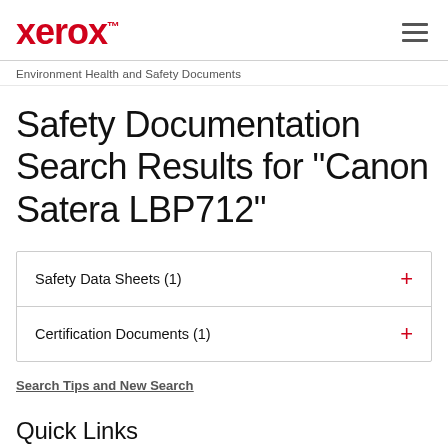xerox™ [hamburger menu]
Environment Health and Safety Documents
Safety Documentation Search Results for "Canon Satera LBP712"
Safety Data Sheets (1) +
Certification Documents (1) +
Search Tips and New Search
Quick Links
Environment home